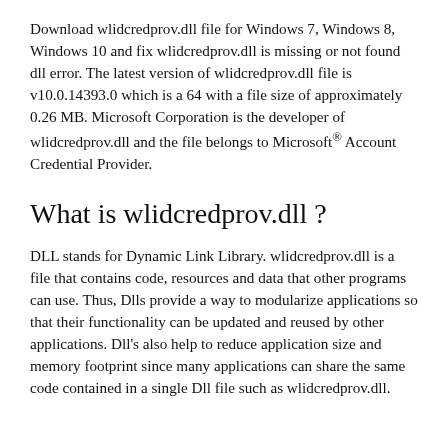Download wlidcredprov.dll file for Windows 7, Windows 8, Windows 10 and fix wlidcredprov.dll is missing or not found dll error. The latest version of wlidcredprov.dll file is v10.0.14393.0 which is a 64 with a file size of approximately 0.26 MB. Microsoft Corporation is the developer of wlidcredprov.dll and the file belongs to Microsoft® Account Credential Provider.
What is wlidcredprov.dll ?
DLL stands for Dynamic Link Library. wlidcredprov.dll is a file that contains code, resources and data that other programs can use. Thus, Dlls provide a way to modularize applications so that their functionality can be updated and reused by other applications. Dll's also help to reduce application size and memory footprint since many applications can share the same code contained in a single Dll file such as wlidcredprov.dll.